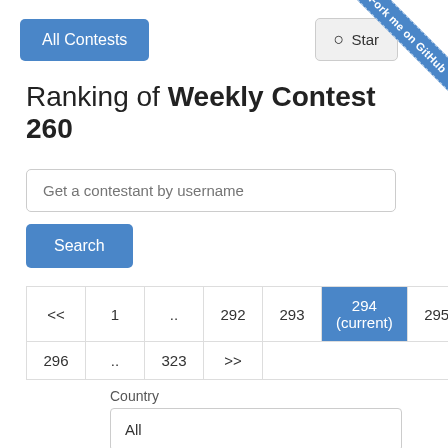All Contests | Star | Fork me on GitHub
Ranking of Weekly Contest 260
Get a contestant by username
Search
| << | 1 | .. | 292 | 293 | 294 (current) | 295 |
| --- | --- | --- | --- | --- | --- | --- |
| 296 | .. | 323 | >> |  |  |  |
Country
All
| # | Username | Rank | Previous rating | E: |
| --- | --- | --- | --- | --- |